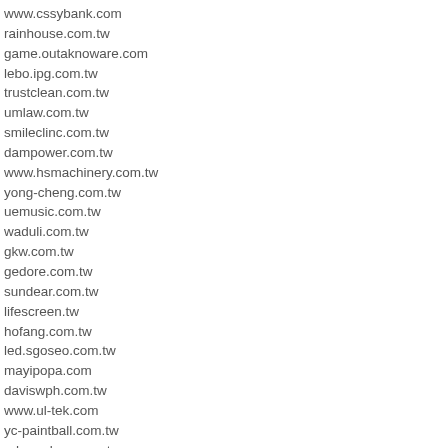www.cssybank.com
rainhouse.com.tw
game.outaknoware.com
lebo.ipg.com.tw
trustclean.com.tw
umlaw.com.tw
smileclinc.com.tw
dampower.com.tw
www.hsmachinery.com.tw
yong-cheng.com.tw
uemusic.com.tw
waduli.com.tw
gkw.com.tw
gedore.com.tw
sundear.com.tw
lifescreen.tw
hofang.com.tw
led.sgoseo.com.tw
mayipopa.com
daviswph.com.tw
www.ul-tek.com
yc-paintball.com.tw
e-homeless.com.tw
mizusoo.com.tw
lambor-cars.com.tw
www.lovemywife.com.tw
0918237306.com.tw
www.00168.com.tw